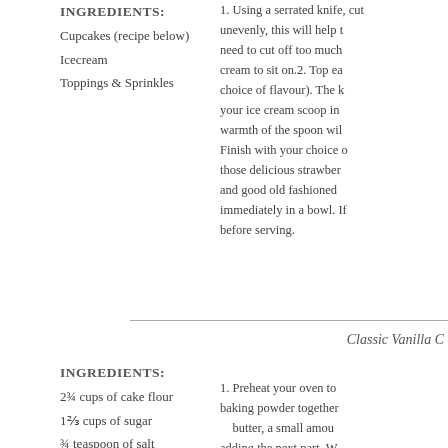INGREDIENTS:
Cupcakes (recipe below)
Icecream
Toppings & Sprinkles
1. Using a serrated knife... unevenly, this will help t... need to cut off too much... cream to sit on.2. Top ea... choice of flavour). The k... your ice cream scoop in... warmth of the spoon wil... Finish with your choice o... those delicious strawber... and good old fashioned... immediately in a bowl. If... before serving.
Classic Vanilla C
INGREDIENTS:
2¾ cups of cake flour
1⅔ cups of sugar
¾ teaspoon of salt
1. Preheat your oven to... baking powder together... butter, a small amou... adding the next part. W...